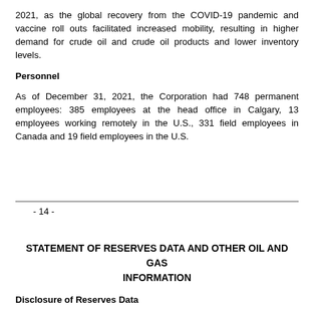2021, as the global recovery from the COVID-19 pandemic and vaccine roll outs facilitated increased mobility, resulting in higher demand for crude oil and crude oil products and lower inventory levels.
Personnel
As of December 31, 2021, the Corporation had 748 permanent employees: 385 employees at the head office in Calgary, 13 employees working remotely in the U.S., 331 field employees in Canada and 19 field employees in the U.S.
- 14 -
STATEMENT OF RESERVES DATA AND OTHER OIL AND GAS INFORMATION
Disclosure of Reserves Data
In accordance with NI 51-101, the reserves data of the Corporation set